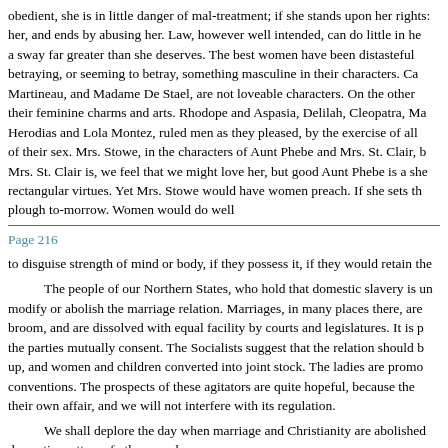obedient, she is in little danger of mal-treatment; if she stands upon her rights, her, and ends by abusing her. Law, however well intended, can do little in he a sway far greater than she deserves. The best women have been distasteful betraying, or seeming to betray, something masculine in their characters. Ca Martineau, and Madame De Stael, are not loveable characters. On the other their feminine charms and arts. Rhodope and Aspasia, Delilah, Cleopatra, Ma Herodias and Lola Montez, ruled men as they pleased, by the exercise of all of their sex. Mrs. Stowe, in the characters of Aunt Phebe and Mrs. St. Clair, b Mrs. St. Clair is, we feel that we might love her, but good Aunt Phebe is a she rectangular virtues. Yet Mrs. Stowe would have women preach. If she sets th plough to-morrow. Women would do well
Page 216
to disguise strength of mind or body, if they possess it, if they would retain the
The people of our Northern States, who hold that domestic slavery is un modify or abolish the marriage relation. Marriages, in many places there, are broom, and are dissolved with equal facility by courts and legislatures. It is p the parties mutually consent. The Socialists suggest that the relation should b up, and women and children converted into joint stock. The ladies are promo conventions. The prospects of these agitators are quite hopeful, because the their own affair, and we will not interfere with its regulation.
We shall deplore the day when marriage and Christianity are abolished domestic matters of other people.
The men of the South take care of the women of the South, the men of s The generous sentiments of slaveholders are sufficient guarantee of the righ